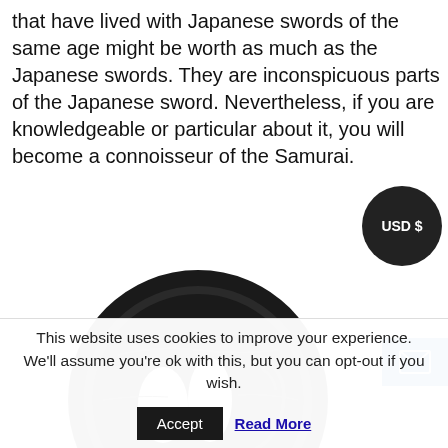that have lived with Japanese swords of the same age might be worth as much as the Japanese swords. They are inconspicuous parts of the Japanese sword. Nevertheless, if you are knowledgeable or particular about it, you will become a connoisseur of the Samurai.
[Figure (photo): A dark circular Japanese sword tsuba (hand guard) with two openings, showing an engraved samurai figure on the right side. The tsuba is photographed against a white background.]
This website uses cookies to improve your experience. We'll assume you're ok with this, but you can opt-out if you wish.
Accept  Read More